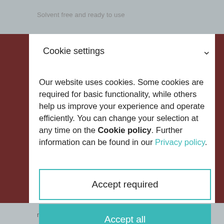Solvent free and ready to use
Cookie settings
Our website uses cookies. Some cookies are required for basic functionality, while others help us improve your experience and operate efficiently. You can change your selection at any time on the Cookie policy. Further information can be found in our Privacy policy.
Accept required
Accept all
much easier after grouting.